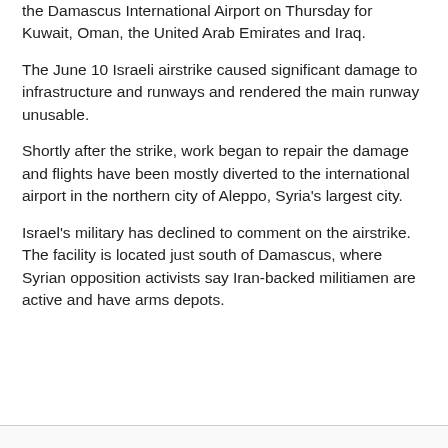the Damascus International Airport on Thursday for Kuwait, Oman, the United Arab Emirates and Iraq.
The June 10 Israeli airstrike caused significant damage to infrastructure and runways and rendered the main runway unusable.
Shortly after the strike, work began to repair the damage and flights have been mostly diverted to the international airport in the northern city of Aleppo, Syria's largest city.
Israel's military has declined to comment on the airstrike. The facility is located just south of Damascus, where Syrian opposition activists say Iran-backed militiamen are active and have arms depots.